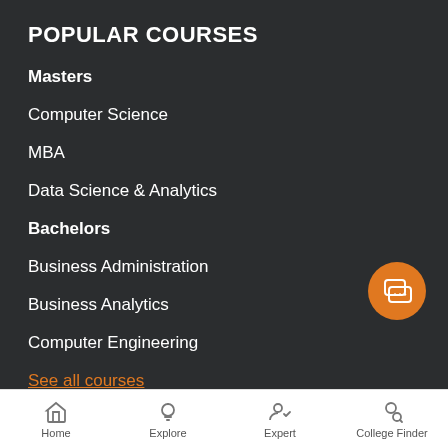POPULAR COURSES
Masters
Computer Science
MBA
Data Science & Analytics
Bachelors
Business Administration
Business Analytics
Computer Engineering
See all courses
Home  Explore  Expert  College Finder